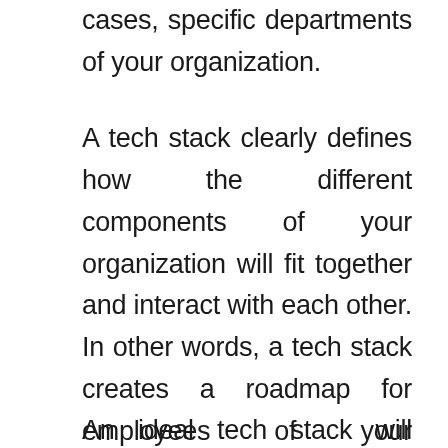cases, specific departments of your organization.
A tech stack clearly defines how the different components of your organization will fit together and interact with each other. In other words, a tech stack creates a roadmap for employees of your organization to follow so that ideal business outcomes can be created faster and consistently.
An ideal tech stack will streamline all